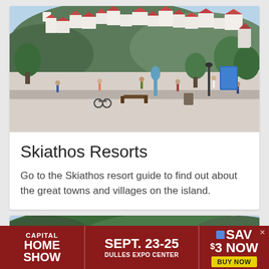[Figure (photo): Aerial/ground-level photo of Skiathos waterfront town with white buildings with red-tiled roofs on a hillside, a busy promenade with people walking, trees, and a sculpture in the foreground.]
Skiathos Resorts
Go to the Skiathos resort guide to find out about the great towns and villages on the island.
[Figure (photo): Partial photo of a wooded hillside with white buildings visible, and water/harbor area in the foreground.]
[Figure (other): Advertisement banner: Capital Home Show, Sept. 23-25, Dulles Expo Center, Save $3 Now, Buy Now]